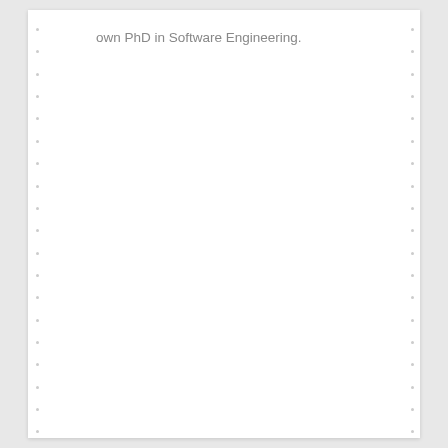own PhD in Software Engineering.